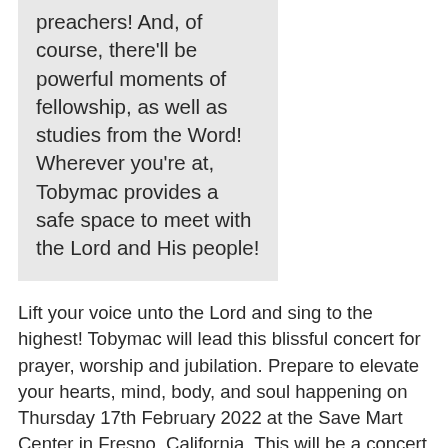preachers! And, of course, there'll be powerful moments of fellowship, as well as studies from the Word! Wherever you're at, Tobymac provides a safe space to meet with the Lord and His people!
Lift your voice unto the Lord and sing to the highest! Tobymac will lead this blissful concert for prayer, worship and jubilation. Prepare to elevate your hearts, mind, body, and soul happening on Thursday 17th February 2022 at the Save Mart Center in Fresno, California. This will be a concert where there will be blessings upon blessings, rejoicing, and thanksgiving. Be a witness as testimonies of grace, victory, and restoration are expressed through songs of faith, love, hope, and worship. If you seek the company of Christians, you've come to the right place. Believers would surely flock for tickets, and demand